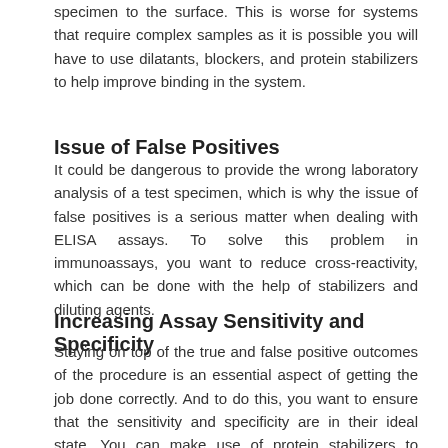specimen to the surface. This is worse for systems that require complex samples as it is possible you will have to use dilatants, blockers, and protein stabilizers to help improve binding in the system.
Issue of False Positives
It could be dangerous to provide the wrong laboratory analysis of a test specimen, which is why the issue of false positives is a serious matter when dealing with ELISA assays. To solve this problem in immunoassays, you want to reduce cross-reactivity, which can be done with the help of stabilizers and diluting agents.
Increasing Assay Sensitivity and Specificity
Staying on top of the true and false positive outcomes of the procedure is an essential aspect of getting the job done correctly. And to do this, you want to ensure that the sensitivity and specificity are in their ideal state. You can make use of protein stabilizers to increase the levels in the